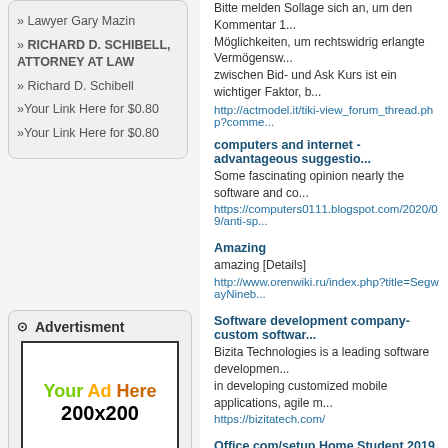» Lawyer Gary Mazin
» RICHARD D. SCHIBELL, ATTORNEY AT LAW
» Richard D. Schibell
»Your Link Here for $0.80
»Your Link Here for $0.80
Advertisment
[Figure (other): Advertisement placeholder box showing 'Your Ad Here 200x200']
Bitte melden Sollage sich an, um den Kommentar 1... Möglichkeiten, um rechtswidrig erlangte Vermögensw... zwischen Bid- und Ask Kurs ist ein wichtiger Faktor, b... http://actmodel.it/tiki-view_forum_thread.php?comme...
computers and internet - advantageous suggestio...
Some fascinating opinion nearly the software and co... https://computers0111.blogspot.com/2020/09/anti-sp...
Amazing
amazing [Details]
http://www.orenwiki.ru/index.php?title=SegwayNineb...
Software development company- custom softwar...
Bizita Technologies is a leading software developmen... in developing customized mobile applications, agile m... https://bizitatech.com/
Office.com/setup Home Student 2019
Microsoft, a United States-based company, delivers m... https://auoffice.comsetuphomestudent2019.com/
Simple Fireplace Designs You Can Do Around Th...
For gel fireplaces, you just have to light them up and... weight a more significant risk precisely what people b...